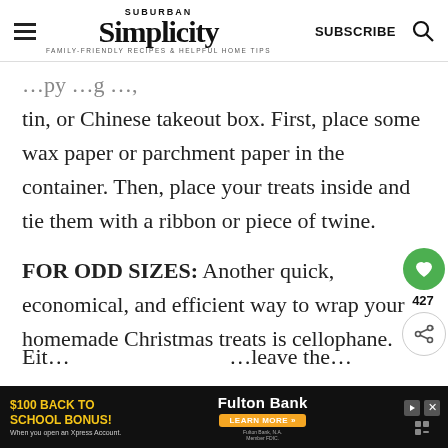SUBURBAN SIMPLICITY — FAMILY-FRIENDLY RECIPES & HELPFUL HOME TIPS — SUBSCRIBE
tin, or Chinese takeout box. First, place some wax paper or parchment paper in the container. Then, place your treats inside and tie them with a ribbon or piece of twine.
FOR ODD SIZES: Another quick, economical, and efficient way to wrap your homemade Christmas treats is cellophane.
$100 BACK TO SCHOOL BONUS! When you open an Xpress Account. Fulton Bank LEARN MORE »